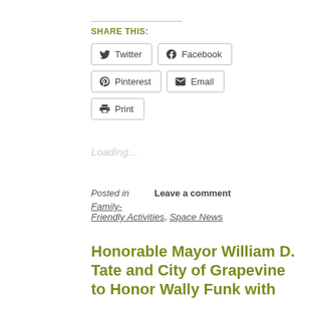SHARE THIS:
Twitter  Facebook  Pinterest  Email  Print
Loading...
Posted in    Leave a comment
Family-Friendly Activities, Space News
Honorable Mayor William D. Tate and City of Grapevine to Honor Wally Funk with